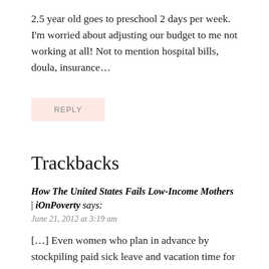2.5 year old goes to preschool 2 days per week. I'm worried about adjusting our budget to me not working at all! Not to mention hospital bills, doula, insurance…
REPLY
Trackbacks
How The United States Fails Low-Income Mothers | iOnPoverty says:
June 21, 2012 at 3:19 am
[…] Even women who plan in advance by stockpiling paid sick leave and vacation time for eight years or funneling money into savings feel overwhelmed and